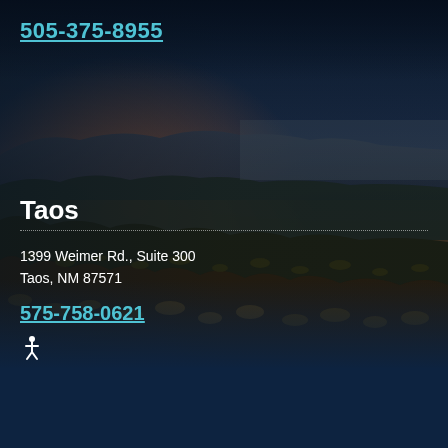[Figure (photo): Aerial/landscape photograph of high desert terrain near Taos, New Mexico at dusk/dawn, showing rocky hills covered with scrubby vegetation, mountains in the background, and a dark blue sky with warm orange glow near the horizon.]
505-375-8955
Taos
1399 Weimer Rd., Suite 300
Taos, NM 87571
575-758-0621